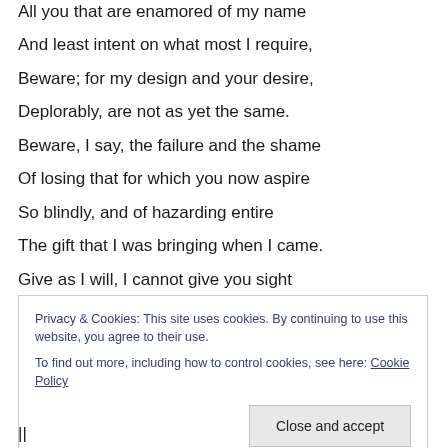All you that are enamored of my name
And least intent on what most I require,
Beware; for my design and your desire,
Deplorably, are not as yet the same.

Beware, I say, the failure and the shame
Of losing that for which you now aspire
So blindly, and of hazarding entire
The gift that I was bringing when I came.

Give as I will, I cannot give you sight
Whereby to see that with you there are some
Privacy & Cookies: This site uses cookies. By continuing to use this website, you agree to their use.
To find out more, including how to control cookies, see here: Cookie Policy
Close and accept
||